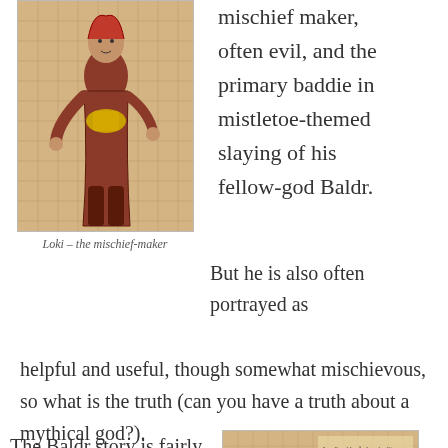[Figure (illustration): Medieval illuminated manuscript illustration of Loki, a Norse god figure in reddish-brown robes, holding objects, on a patterned background]
mischief maker, often evil, and the primary baddie in mistletoe-themed slaying of his fellow-god Baldr.
Loki – the mischief-maker
But he is also often portrayed as helpful and useful, though somewhat mischievous, so what is the truth (can you have a truth about a mythical god?).
The Baldr story is fairly damning: Baldr, whose
[Figure (illustration): Medieval manuscript illustration showing a bearded figure, possibly Odin or another Norse god, with text inscriptions visible in the background]